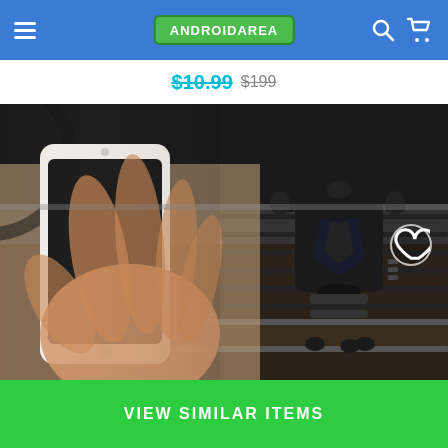ANDROIDAREA
$10.99  $199
[Figure (photo): A hand placing a smartphone into a gravity car phone mount attached to a car air vent. The phone mount is black with a shield-like shape, and the car's dark dashboard and vents are visible in the background. A heart/wishlist icon is overlaid in the top-right corner of the image.]
VIEW SIMILAR ITEMS